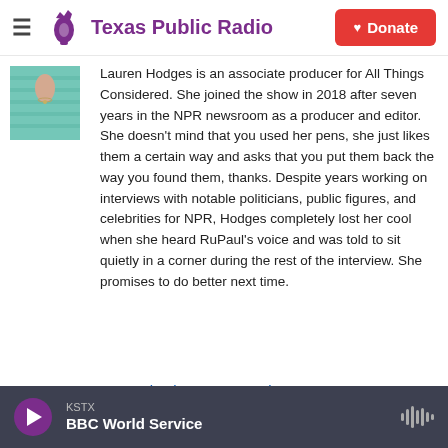Texas Public Radio | Donate
[Figure (photo): Headshot of Lauren Hodges wearing a teal striped top with a necklace]
Lauren Hodges is an associate producer for All Things Considered. She joined the show in 2018 after seven years in the NPR newsroom as a producer and editor. She doesn't mind that you used her pens, she just likes them a certain way and asks that you put them back the way you found them, thanks. Despite years working on interviews with notable politicians, public figures, and celebrities for NPR, Hodges completely lost her cool when she heard RuPaul's voice and was told to sit quietly in a corner during the rest of the interview. She promises to do better next time.
See stories by Lauren Hodges
KSTX | BBC World Service